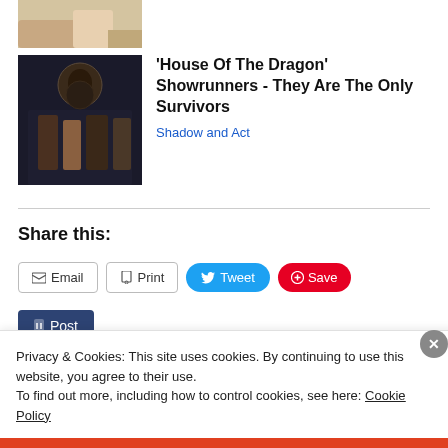[Figure (photo): Partial image of hands on yellowish background, cropped at top]
[Figure (photo): Cast of House of the Dragon in dark medieval throne room setting]
'House Of The Dragon' Showrunners - They Are The Only Survivors
Shadow and Act
Share this:
Email
Print
Tweet
Save
Post
Privacy & Cookies: This site uses cookies. By continuing to use this website, you agree to their use.
To find out more, including how to control cookies, see here: Cookie Policy
Close and accept